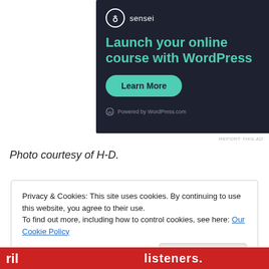[Figure (screenshot): Dark-themed advertisement banner for Sensei WordPress course plugin. Shows Sensei logo (white circle with tree icon and 'sensei' text), headline 'Launch your online course with WordPress' in teal, a teal 'Learn More' button, and 'Powered by WordPress.com' footer text in gray.]
REPORT THIS AD
Photo courtesy of H-D.
Privacy & Cookies: This site uses cookies. By continuing to use this website, you agree to their use.
To find out more, including how to control cookies, see here: Our Cookie Policy
Close and accept
[Figure (screenshot): Partial view of a red advertisement banner with white text showing partial words 'listeners.']